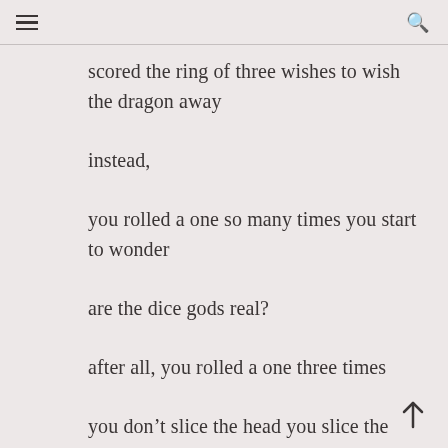≡  🔍
scored the ring of three wishes to wish the dragon away

instead,

you rolled a one so many times you start to wonder

are the dice gods real?

after all, you rolled a one three times

you don't slice the head you slice the goblin's armour

the belt falls off the tiefling, now she knows you're a thief

you find a ring in the pile of smoking rubble, only made of lead